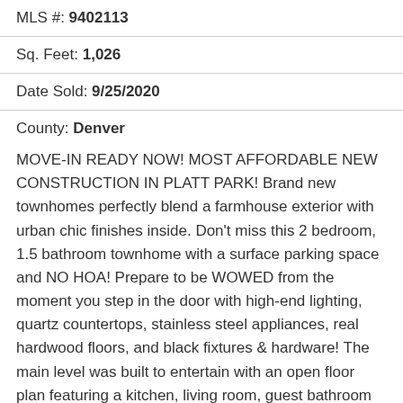MLS #: 9402113
Sq. Feet: 1,026
Date Sold: 9/25/2020
County: Denver
MOVE-IN READY NOW! MOST AFFORDABLE NEW CONSTRUCTION IN PLATT PARK! Brand new townhomes perfectly blend a farmhouse exterior with urban chic finishes inside. Don't miss this 2 bedroom, 1.5 bathroom townhome with a surface parking space and NO HOA! Prepare to be WOWED from the moment you step in the door with high-end lighting, quartz countertops, stainless steel appliances, real hardwood floors, and black fixtures & hardware! The main level was built to entertain with an open floor plan featuring a kitchen, living room, guest bathroom and plenty of closet space. No detail was spared in the luxurious upstairs master suite complete with a walk-in closet and custom tile work in the